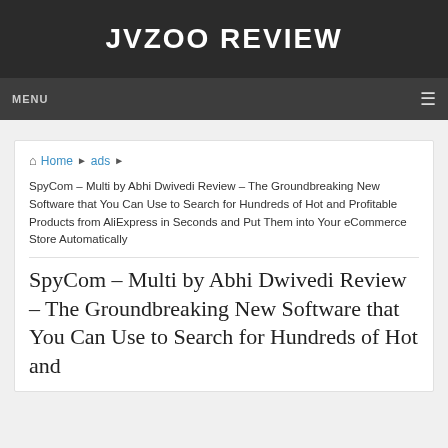JVZOO REVIEW
MENU
Home › ads ›
SpyCom – Multi by Abhi Dwivedi Review – The Groundbreaking New Software that You Can Use to Search for Hundreds of Hot and Profitable Products from AliExpress in Seconds and Put Them into Your eCommerce Store Automatically
SpyCom – Multi by Abhi Dwivedi Review – The Groundbreaking New Software that You Can Use to Search for Hundreds of Hot and